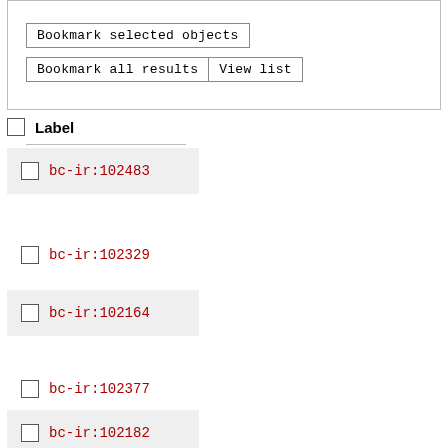[Figure (screenshot): UI panel with buttons: 'Bookmark selected objects', 'Bookmark all results', 'View list']
Label
bc-ir:102483
bc-ir:102329
bc-ir:102164
bc-ir:102377
bc-ir:102182